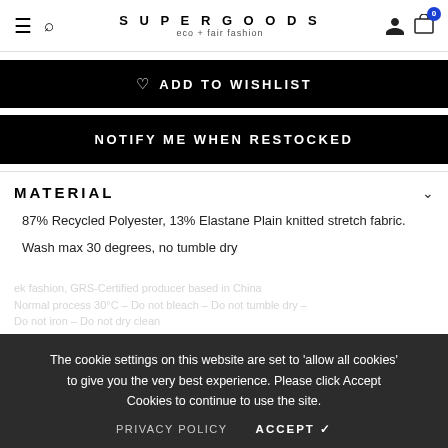SUPERGOODS eco + fair fashion
♡ ADD TO WISHLIST
NOTIFY ME WHEN RESTOCKED
MATERIAL
87% Recycled Polyester, 13% Elastane Plain knitted stretch fabric.
Wash max 30 degrees, no tumble dry
ek fashion, GRS-Certified producer based in China Normal process 30°C – Do not bleach – Do not tumble dry – Do not iron – Do not dry clean
The cookie settings on this website are set to 'allow all cookies' to give you the very best experience. Please click Accept Cookies to continue to use the site.
PRIVACY POLICY   ACCEPT ✓